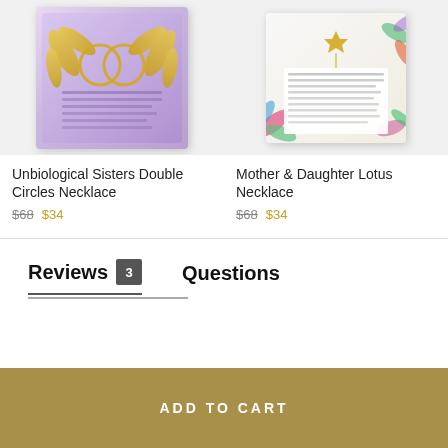[Figure (photo): Unbiological Sisters Double Circles Necklace product image on purple/lavender background with golden palm leaf decorations]
[Figure (photo): Mother & Daughter Lotus Necklace product image on colorful tropical background with floral/leaf patterns]
Unbiological Sisters Double Circles Necklace
$68  $34
Mother & Daughter Lotus Necklace
$68  $34
Reviews 3
Questions
ADD TO CART